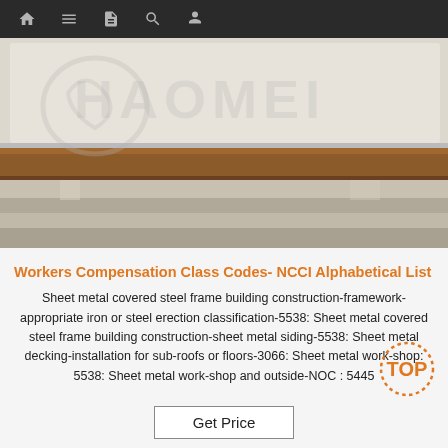Navigation bar with home, menu, document, search, user icons
[Figure (photo): Photo of metal sheets/plates stacked, with HAOMEI watermark logo overlaid in light gray]
Workers Compensation Class Codes- NCCI Alphabetical List
Sheet metal covered steel frame building construction-framework-appropriate iron or steel erection classification-5538: Sheet metal covered steel frame building construction-sheet metal siding-5538: Sheet metal decking-installation for sub-roofs or floors-3066: Sheet metal work-shop: 5538: Sheet metal work-shop and outside-NOC : 5445
Get Price